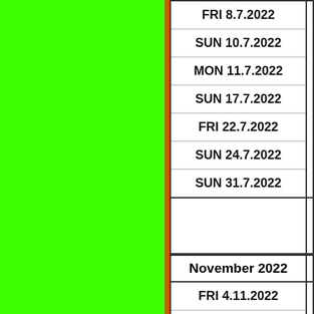[Figure (other): Green color panel on the left side of the page with an orange/brown right border]
| FRI 8.7.2022 |
| SUN 10.7.2022 |
| MON 11.7.2022 |
| SUN 17.7.2022 |
| FRI 22.7.2022 |
| SUN 24.7.2022 |
| SUN 31.7.2022 |
| November 2022 |
| --- |
| FRI 4.11.2022 |
| SUN 6.11.2022 |